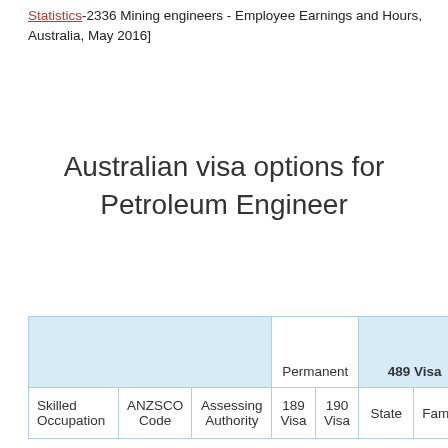Statistics-2336 Mining engineers - Employee Earnings and Hours, Australia, May 2016]
Australian visa options for Petroleum Engineer
| Skilled Occupation | ANZSCO Code | Assessing Authority | 189 Visa | 190 Visa | State | Family |
| --- | --- | --- | --- | --- | --- | --- |